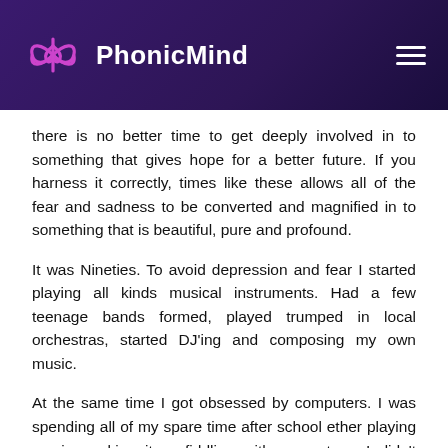PhonicMind
there is no better time to get deeply involved in to something that gives hope for a better future. If you harness it correctly, times like these allows all of the fear and sadness to be converted and magnified in to something that is beautiful, pure and profound.
It was Nineties. To avoid depression and fear I started playing all kinds musical instruments. Had a few teenage bands formed, played trumped in local orchestras, started DJ'ing and composing my own music.
At the same time I got obsessed by computers. I was spending all of my spare time after school ether playing music, making it or fiddling with computers. I didn't cared about anything else at all and it was great! :)